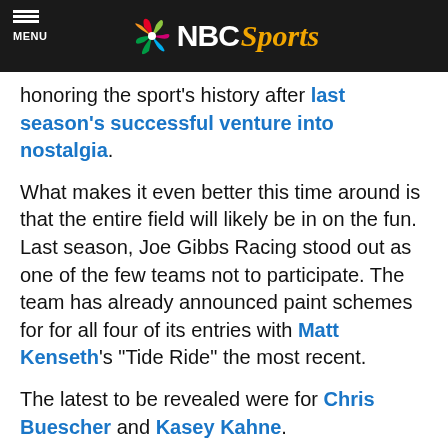NBC Sports
honoring the sport's history after last season's successful venture into nostalgia.
What makes it even better this time around is that the entire field will likely be in on the fun. Last season, Joe Gibbs Racing stood out as one of the few teams not to participate. The team has already announced paint schemes for for all four of its entries with Matt Kenseth's "Tide Ride" the most recent.
The latest to be revealed were for Chris Buescher and Kasey Kahne.
Yet to be announced: Brian Scott, Clint Bowyer and Michael Annett.
Here's a rundown of the retro paint schemes announced to date. Which is your favorite?